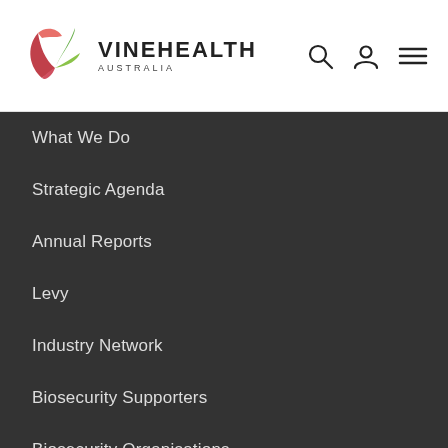[Figure (logo): Vinehealth Australia logo with pink and green leaf motif and text VINEHEALTH AUSTRALIA]
What We Do
Strategic Agenda
Annual Reports
Levy
Industry Network
Biosecurity Supporters
Biosecurity Organisations
RULES
What Is Biosecurity?
Plans & Policies
State Movement Regulations